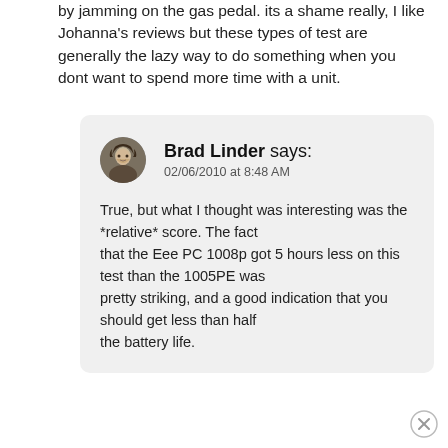by jamming on the gas pedal. its a shame really, I like Johanna's reviews but these types of test are generally the lazy way to do something when you dont want to spend more time with a unit.
Brad Linder says:
02/06/2010 at 8:48 AM

True, but what I thought was interesting was the *relative* score. The fact that the Eee PC 1008p got 5 hours less on this test than the 1005PE was pretty striking, and a good indication that you should get less than half the battery life.